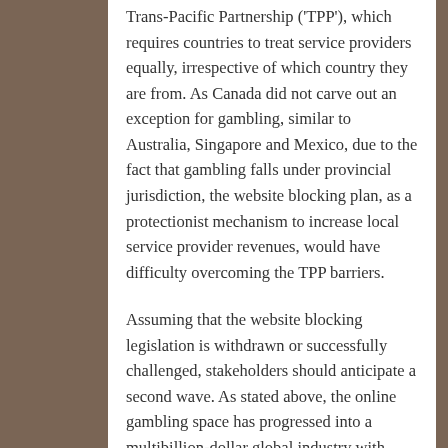Trans-Pacific Partnership ('TPP'), which requires countries to treat service providers equally, irrespective of which country they are from. As Canada did not carve out an exception for gambling, similar to Australia, Singapore and Mexico, due to the fact that gambling falls under provincial jurisdiction, the website blocking plan, as a protectionist mechanism to increase local service provider revenues, would have difficulty overcoming the TPP barriers.
Assuming that the website blocking legislation is withdrawn or successfully challenged, stakeholders should anticipate a second wave. As stated above, the online gambling space has progressed into a multibillion-dollar global industry with significant upside. To that end, the Jaswal Institute expects the provincial governments will be ready and willing to go to war to assert their legal monopoly over online gambling. We